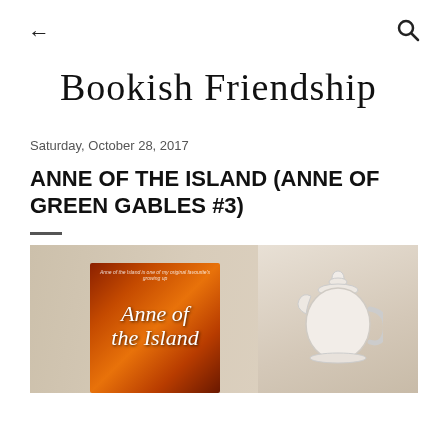← (back) | 🔍 (search)
Bookish Friendship
Saturday, October 28, 2017
ANNE OF THE ISLAND (ANNE OF GREEN GABLES #3)
[Figure (photo): Photo of the book 'Anne of the Island' with a fiery orange book cover featuring script-style title text, propped up next to a white ceramic teapot on a beige/tan background.]